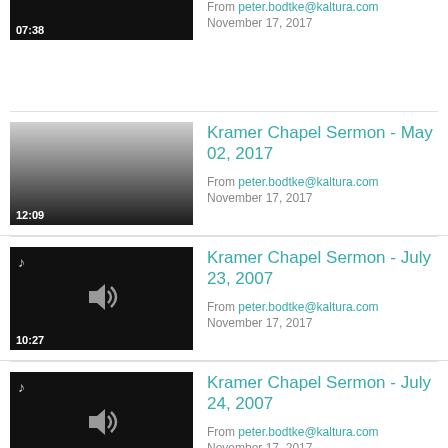[Figure (screenshot): Video thumbnail black with duration 07:38]
From peter.bodtke@kaltura.com
November 17, 2017
[Figure (screenshot): Video thumbnail gradient gray to black with duration 12:09 - Kramer Chapel Sermon May 02, 2017]
Kramer Chapel Sermon - May 02, 2017
From peter.bodtke@kaltura.com
November 17, 2017
[Figure (screenshot): Audio thumbnail black with music note and speaker icon, duration 10:27 - Kramer Chapel Sermon July 23, 2007]
Kramer Chapel Sermon - July 23, 2007
From peter.bodtke@kaltura.com
November 17, 2017
[Figure (screenshot): Audio thumbnail black with music note and speaker icon, duration 09:17 - Kramer Chapel Sermon July 24, 2007]
Kramer Chapel Sermon - July 24, 2007
From peter.bodtke@kaltura.com
November 17, 2017